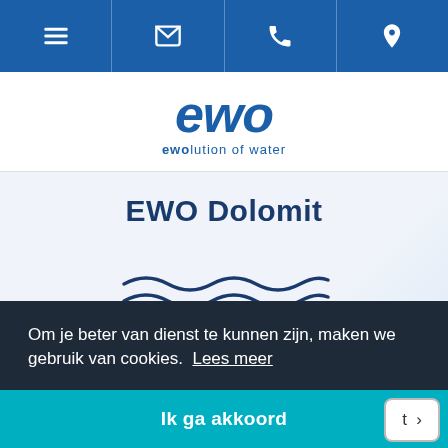[Figure (screenshot): Navigation bar with menu, email, phone, and location icons on blue background]
[Figure (logo): EWO logo with 'ewolution of water' tagline in blue]
EWO Dolomit
[Figure (illustration): Two wavy lines decorative graphic in dark blue]
Om je beter van dienst te kunnen zijn, maken we gebruik van cookies. Lees meer
Ik ga akkoord